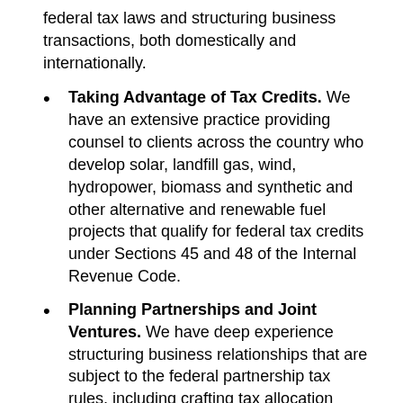federal tax laws and structuring business transactions, both domestically and internationally.
Taking Advantage of Tax Credits. We have an extensive practice providing counsel to clients across the country who develop solar, landfill gas, wind, hydropower, biomass and synthetic and other alternative and renewable fuel projects that qualify for federal tax credits under Sections 45 and 48 of the Internal Revenue Code.
Planning Partnerships and Joint Ventures. We have deep experience structuring business relationships that are subject to the federal partnership tax rules, including crafting tax allocation mechanisms that bring the highest after-tax value to all partners.
Resolving IRS Audits and Appeals. We represent clients whose tax returns are subject to